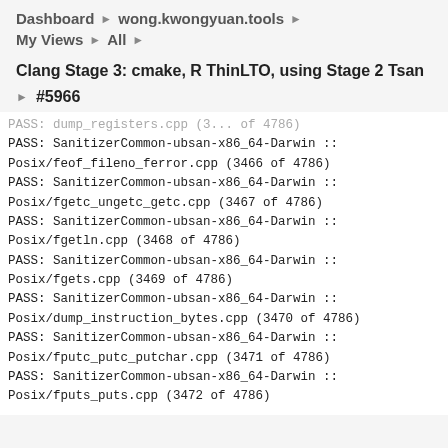Dashboard ▶ wong.kwongyuan.tools ▶
My Views ▶ All ▶
Clang Stage 3: cmake, R ThinLTO, using Stage 2 Tsan
#5966
PASS: SanitizerCommon-ubsan-x86_64-Darwin :: Posix/feof_fileno_ferror.cpp (3466 of 4786)
PASS: SanitizerCommon-ubsan-x86_64-Darwin :: Posix/fgetc_ungetc_getc.cpp (3467 of 4786)
PASS: SanitizerCommon-ubsan-x86_64-Darwin :: Posix/fgetln.cpp (3468 of 4786)
PASS: SanitizerCommon-ubsan-x86_64-Darwin :: Posix/fgets.cpp (3469 of 4786)
PASS: SanitizerCommon-ubsan-x86_64-Darwin :: Posix/dump_instruction_bytes.cpp (3470 of 4786)
PASS: SanitizerCommon-ubsan-x86_64-Darwin :: Posix/fputc_putc_putchar.cpp (3471 of 4786)
PASS: SanitizerCommon-ubsan-x86_64-Darwin :: Posix/fputs_puts.cpp (3472 of 4786)